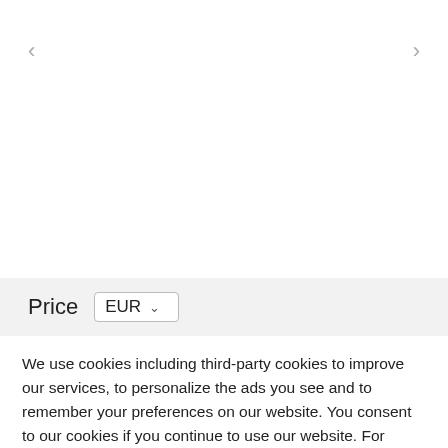[Figure (other): Left navigation arrow (<) in light gray]
[Figure (other): Right navigation arrow (>) in light gray]
Price  EUR ▾
We use cookies including third-party cookies to improve our services, to personalize the ads you see and to remember your preferences on our website. You consent to our cookies if you continue to use our website. For further information (e.g. how to disable your cookies) visit our Cookies policy!
OK